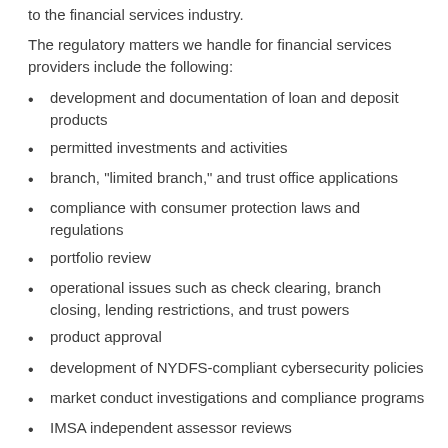to the financial services industry.
The regulatory matters we handle for financial services providers include the following:
development and documentation of loan and deposit products
permitted investments and activities
branch, "limited branch," and trust office applications
compliance with consumer protection laws and regulations
portfolio review
operational issues such as check clearing, branch closing, lending restrictions, and trust powers
product approval
development of NYDFS-compliant cybersecurity policies
market conduct investigations and compliance programs
IMSA independent assessor reviews
guaranty fund and insolvency issues
licensing